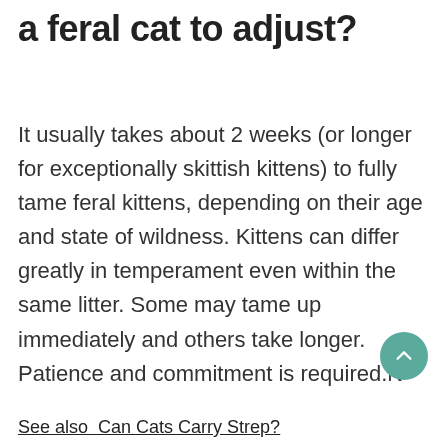a feral cat to adjust?
It usually takes about 2 weeks (or longer for exceptionally skittish kittens) to fully tame feral kittens, depending on their age and state of wildness. Kittens can differ greatly in temperament even within the same litter. Some may tame up immediately and others take longer. Patience and commitment is required.N
See also  Can Cats Carry Strep?